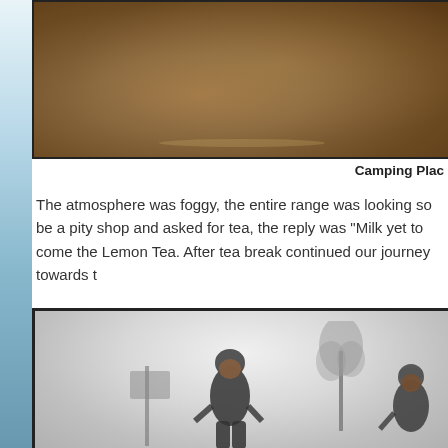[Figure (photo): Top portion of a photo showing a sandy/muddy brown ground surface, partially cropped at the top of the page]
Camping Plac
The atmosphere was foggy, the entire range was looking so be a pity shop and asked for tea, the reply was “Milk yet to come the Lemon Tea. After tea break continued our journey towards t
[Figure (photo): Two cyclists wearing helmets and dark jackets standing in dense fog. A tree silhouette is visible in the misty background on the right side, and a sign or board is partially visible on the left.]